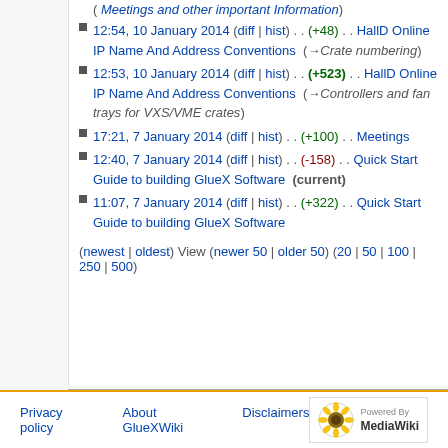12:54, 10 January 2014 (diff | hist) . . (+48) . . HallD Online IP Name And Address Conventions (→Crate numbering)
12:53, 10 January 2014 (diff | hist) . . (+523) . . HallD Online IP Name And Address Conventions (→Controllers and fan trays for VXS/VME crates)
17:21, 7 January 2014 (diff | hist) . . (+100) . . Meetings
12:40, 7 January 2014 (diff | hist) . . (-158) . . Quick Start Guide to building GlueX Software (current)
11:07, 7 January 2014 (diff | hist) . . (+322) . . Quick Start Guide to building GlueX Software
(newest | oldest) View (newer 50 | older 50) (20 | 50 | 100 | 250 | 500)
Privacy policy   About GlueXWiki   Disclaimers   Powered by MediaWiki